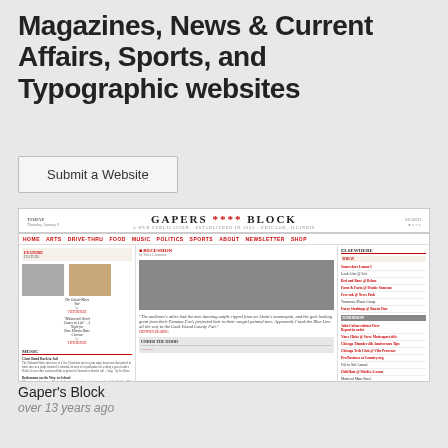Magazines, News & Current Affairs, Sports, and Typographic websites
Submit a Website
[Figure (screenshot): Screenshot of Gaper's Block website, showing header with logo, navigation bar with red links, a three-column layout with featured images, articles, and sidebar content]
Gaper's Block
over 13 years ago